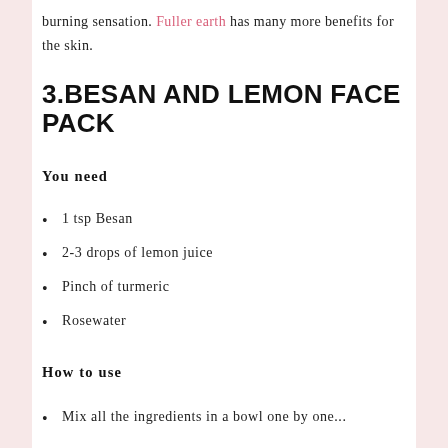burning sensation. Fuller earth has many more benefits for the skin.
3.BESAN AND LEMON FACE PACK
You need
1 tsp Besan
2-3 drops of lemon juice
Pinch of turmeric
Rosewater
How to use
Mix all the ingredients in a bowl one by one...